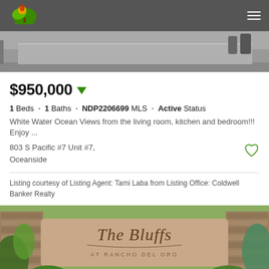Sandicor Realty website header with logo and hamburger menu
[Figure (photo): Grayscale photo of a property exterior, tennis court or patio area visible]
$950,000
1 Beds · 1 Baths · NDP2206699 MLS · Active Status
White Water Ocean Views from the living room, kitchen and bedroom!!! Enjoy ...
803 S Pacific #7 Unit #7, Oceanside
Listing courtesy of Listing Agent: Tami Laba from Listing Office: Coldwell Banker Realty
[Figure (photo): Photo of 'The Bluffs at Rancho Del Oro' community entrance sign with stone pillars and landscaping]